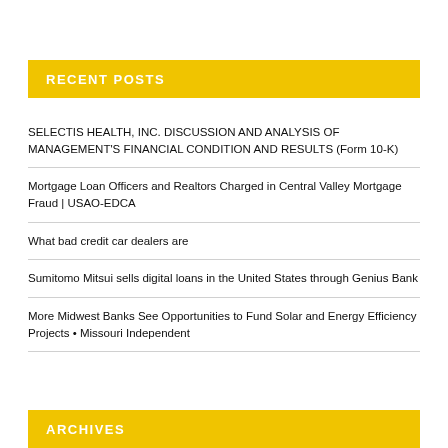RECENT POSTS
SELECTIS HEALTH, INC. DISCUSSION AND ANALYSIS OF MANAGEMENT'S FINANCIAL CONDITION AND RESULTS (Form 10-K)
Mortgage Loan Officers and Realtors Charged in Central Valley Mortgage Fraud | USAO-EDCA
What bad credit car dealers are
Sumitomo Mitsui sells digital loans in the United States through Genius Bank
More Midwest Banks See Opportunities to Fund Solar and Energy Efficiency Projects • Missouri Independent
ARCHIVES